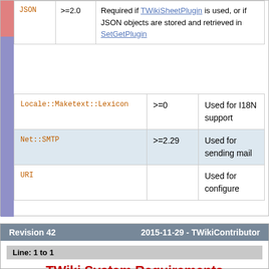|  |  |  |
| --- | --- | --- |
| JSON | >=2.0 | Required if TWikiSheetPlugin is used, or if JSON objects are stored and retrieved in SetGetPlugin |
|  |  |  |
| --- | --- | --- |
| Locale::Maketext::Lexicon | >=0 | Used for I18N support |
| Net::SMTP | >=2.29 | Used for sending mail |
| URI |  | Used for configure |
Revision 42   2015-11-29 - TWikiContributor
Line: 1 to 1
TWiki System Requirements